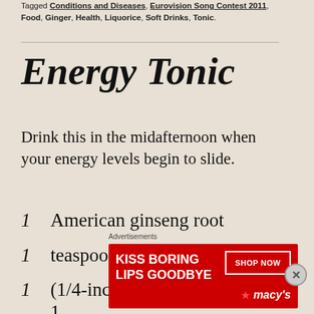Tagged Conditions and Diseases, Eurovision Song Contest 2011, Food, Ginger, Health, Liquorice, Soft Drinks, Tonic.
Energy Tonic
Drink this in the midafternoon when your energy levels begin to slide.
1   American ginseng root
1   teaspoon fenugreek seeds
1   (1/4-inch) slice ginger root or 1
Advertisements
[Figure (photo): Macy's advertisement: KISS BORING LIPS GOODBYE with SHOP NOW button and Macy's logo]